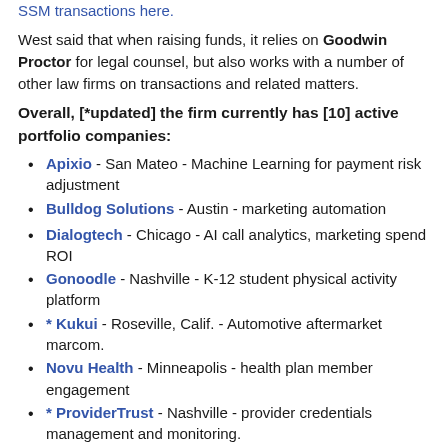SSM transactions here.
West said that when raising funds, it relies on Goodwin Proctor for legal counsel, but also works with a number of other law firms on transactions and related matters.
Overall, [*updated] the firm currently has [10] active portfolio companies:
Apixio - San Mateo - Machine Learning for payment risk adjustment
Bulldog Solutions - Austin - marketing automation
Dialogtech - Chicago - AI call analytics, marketing spend ROI
Gonoodle - Nashville - K-12 student physical activity platform
* Kukui - Roseville, Calif. - Automotive aftermarket marcom.
Novu Health - Minneapolis - health plan member engagement
* ProviderTrust - Nashville - provider credentials management and monitoring.
SmashFly - Boston - HR recruiting applications
Zift Solutions - NC/NJ - Channel marcom
West, now 46, earned his Harvard MBA in 2002 and his